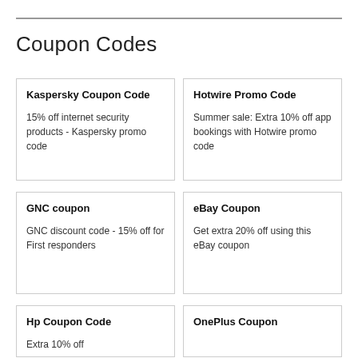Coupon Codes
Kaspersky Coupon Code
15% off internet security products - Kaspersky promo code
Hotwire Promo Code
Summer sale: Extra 10% off app bookings with Hotwire promo code
GNC coupon
GNC discount code - 15% off for First responders
eBay Coupon
Get extra 20% off using this eBay coupon
Hp Coupon Code
OnePlus Coupon